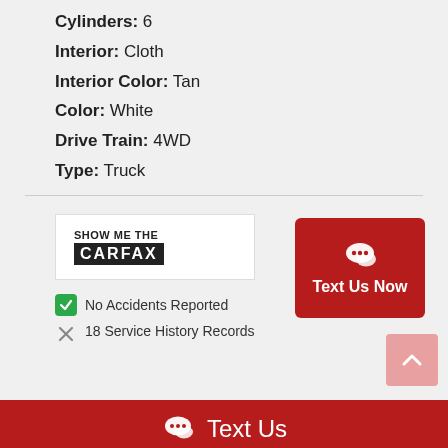Cylinders: 6
Interior: Cloth
Interior Color: Tan
Color: White
Drive Train: 4WD
Type: Truck
[Figure (logo): SHOW ME THE CARFAX logo with black background bar]
No Accidents Reported
18 Service History Records
Text Us Now
Text Us